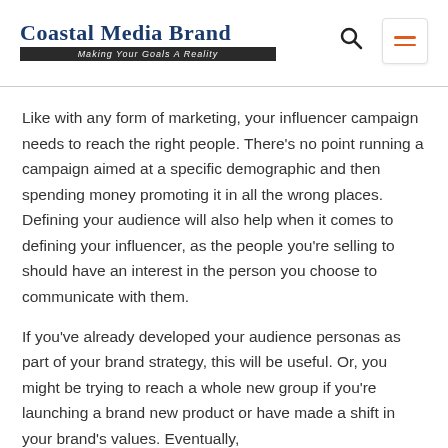Coastal Media Brand – Making Your Goals A Reality
Like with any form of marketing, your influencer campaign needs to reach the right people. There's no point running a campaign aimed at a specific demographic and then spending money promoting it in all the wrong places. Defining your audience will also help when it comes to defining your influencer, as the people you're selling to should have an interest in the person you choose to communicate with them.
If you've already developed your audience personas as part of your brand strategy, this will be useful. Or, you might be trying to reach a whole new group if you're launching a brand new product or have made a shift in your brand's values. Eventually,